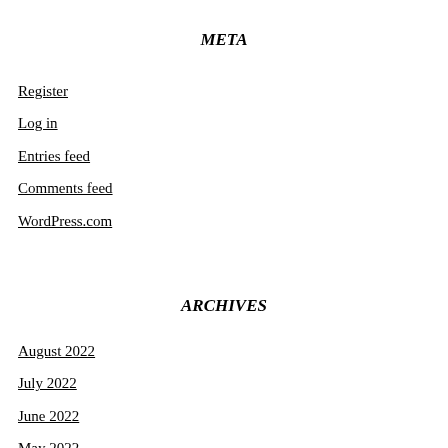META
Register
Log in
Entries feed
Comments feed
WordPress.com
ARCHIVES
August 2022
July 2022
June 2022
May 2022